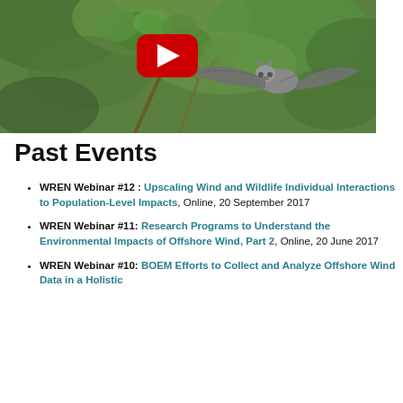[Figure (photo): A bat in flight against a green leafy background, with a YouTube play button overlay in the center]
Past Events
WREN Webinar #12 : Upscaling Wind and Wildlife Individual Interactions to Population-Level Impacts, Online, 20 September 2017
WREN Webinar #11: Research Programs to Understand the Environmental Impacts of Offshore Wind, Part 2, Online, 20 June 2017
WREN Webinar #10: BOEM Efforts to Collect and Analyze Offshore Wind Data in a Holistic